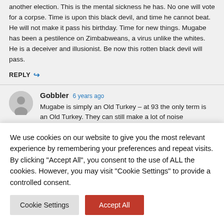another election. This is the mental sickness he has. No one will vote for a corpse. Time is upon this black devil, and time he cannot beat. He will not make it pass his birthday. Time for new things. Mugabe has been a pestilence on Zimbabweans, a virus unlike the whites. He is a deceiver and illusionist. Be now this rotten black devil will pass.
REPLY
Gobbler  6 years ago
Mugabe is simply an Old Turkey – at 93 the only term is an Old Turkey. They can still make a lot of noise
We use cookies on our website to give you the most relevant experience by remembering your preferences and repeat visits. By clicking "Accept All", you consent to the use of ALL the cookies. However, you may visit "Cookie Settings" to provide a controlled consent.